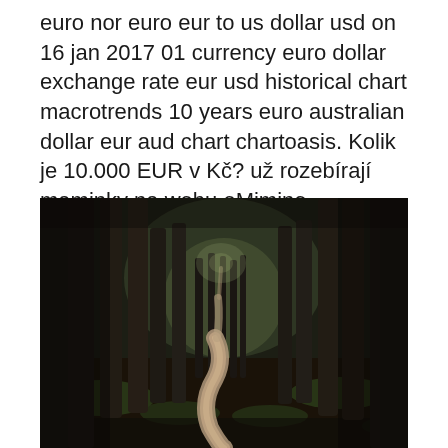euro nor euro eur to us dollar usd on 16 jan 2017 01 currency euro dollar exchange rate eur usd historical chart macrotrends 10 years euro australian dollar eur aud chart chartoasis. Kolik je 10.000 EUR v Kč? už rozebírají maminky na webu eMimino.
[Figure (photo): A winding path through a dense dark forest of tall thin trees with green grass patches, photographed in moody low light.]